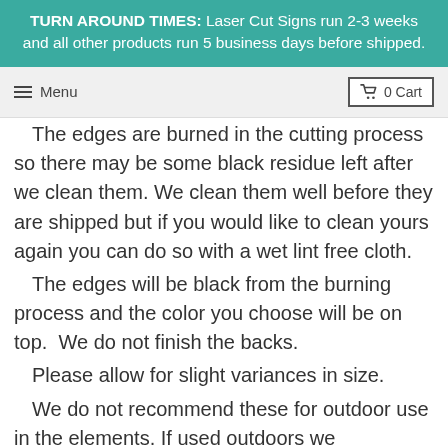TURN AROUND TIMES: Laser Cut Signs run 2-3 weeks and all other products run 5 business days before shipped.
Menu  0 Cart
The edges are burned in the cutting process so there may be some black residue left after we clean them. We clean them well before they are shipped but if you would like to clean yours again you can do so with a wet lint free cloth.
The edges will be black from the burning process and the color you choose will be on top.  We do not finish the backs.
Please allow for slight variances in size.
We do not recommend these for outdoor use in the elements. If used outdoors we recommend using a good outdoor sealer and making sure it is in a place where the elements cannot get to it.